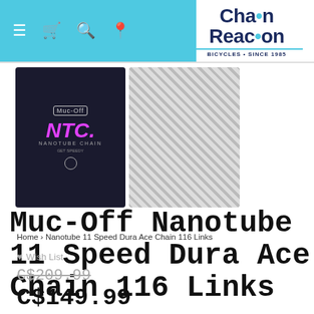Chain Reaction Bicycles + Since 1985
[Figure (photo): Muc-Off NTC Nanotube Chain product packaging on left (dark background with pink NTC logo) and close-up photo of silver bicycle chain links on right]
Muc-Off Nanotube 11 Speed Dura Ace Chain 116 Links
Home › Nanotube 11 Speed Dura Ace Chain 116 Links
♥ Wish List
C$209.99
C$149.99